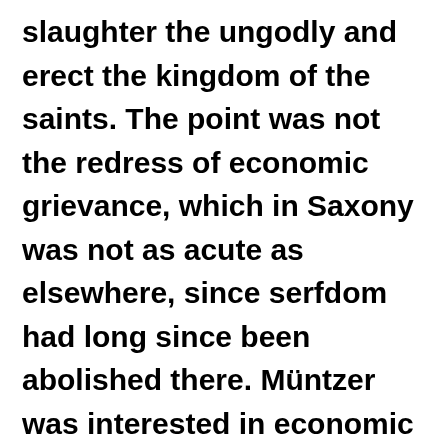slaughter the ungodly and erect the kingdom of the saints. The point was not the redress of economic grievance, which in Saxony was not as acute as elsewhere, since serfdom had long since been abolished there. Müntzer was interested in economic amelioration only for the sake of religion, and he did have the insight to see what no one else in his generation observed, that faith itself does